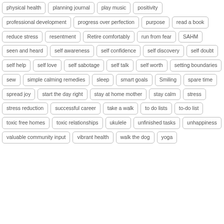physical health
planning journal
play music
positivity
professional development
progress over perfection
purpose
read a book
reduce stress
resentment
Retire comfortably
run from fear
SAHM
seen and heard
self awareness
self confidence
self discovery
self doubt
self help
self love
self sabotage
self talk
self worth
setting boundaries
sew
simple calming remedies
sleep
smart goals
Smiling
spare time
spread joy
start the day right
stay at home mother
stay calm
stress
stress reduction
successful career
take a walk
to do lists
to-do list
toxic free homes
toxic relationships
ukulele
unfinished tasks
unhappiness
valuable community input
vibrant health
walk the dog
yoga